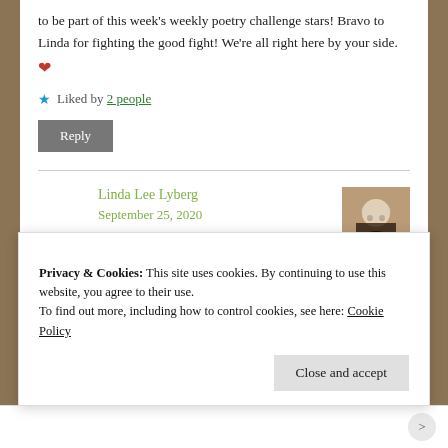to be part of this week's weekly poetry challenge stars! Bravo to Linda for fighting the good fight! We're all right here by your side. ❤
Liked by 2 people
Reply
Linda Lee Lyberg
September 25, 2020
Privacy & Cookies: This site uses cookies. By continuing to use this website, you agree to their use.
To find out more, including how to control cookies, see here: Cookie Policy
Close and accept